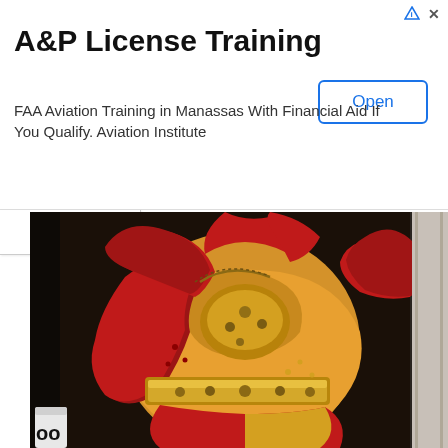[Figure (infographic): Advertisement banner for A&P License Training. Title: A&P License Training. Body text: FAA Aviation Training in Manassas With Financial Aid If You Qualify. Aviation Institute. Open button on right. Ad icons top right.]
[Figure (photo): Photograph of a performer in a red and gold sequined/beaded costume with metallic gold belt. The costume has elaborate decorations. Bottom left shows partial text 'oo' in black on a white background element.]